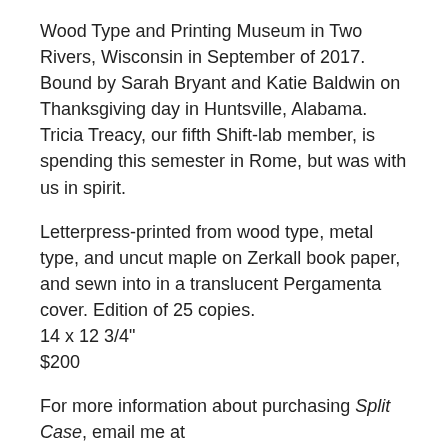Wood Type and Printing Museum in Two Rivers, Wisconsin in September of 2017. Bound by Sarah Bryant and Katie Baldwin on Thanksgiving day in Huntsville, Alabama. Tricia Treacy, our fifth Shift-lab member, is spending this semester in Rome, but was with us in spirit.
Letterpress-printed from wood type, metal type, and uncut maple on Zerkall book paper, and sewn into in a translucent Pergamenta cover. Edition of 25 copies.
14 x 12 3/4"
$200
For more information about purchasing Split Case, email me at sarahherrickbryant[at]gmail.com.
We are immensely grateful to Jim Moran, Stephanie Carpenter, and Tootsie Sommers for being so welcoming, and allowing us to make the most of the world in their...